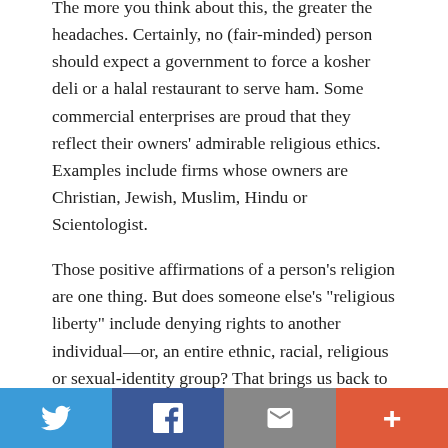The more you think about this, the greater the headaches. Certainly, no (fair-minded) person should expect a government to force a kosher deli or a halal restaurant to serve ham. Some commercial enterprises are proud that they reflect their owners' admirable religious ethics. Examples include firms whose owners are Christian, Jewish, Muslim, Hindu or Scientologist.
Those positive affirmations of a person's religion are one thing. But does someone else's “religious liberty” include denying rights to another individual—or, an entire ethnic, racial, religious or sexual-identity group? That brings us back to the question: What is “religious
[Figure (infographic): Social sharing bar with four buttons: Twitter (blue), Facebook (dark blue), Email (gray), Plus/More (orange-red)]